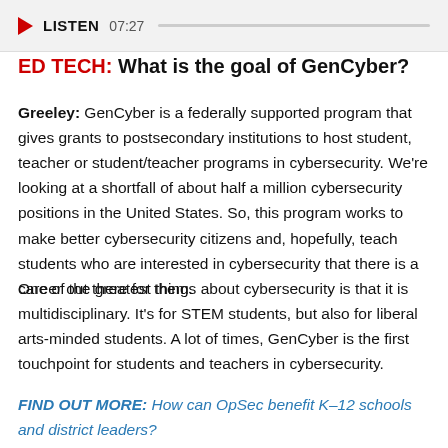[Figure (screenshot): Audio player bar with red play triangle icon, LISTEN label, timestamp 07:27, and a progress bar]
ED TECH: What is the goal of GenCyber?
Greeley: GenCyber is a federally supported program that gives grants to postsecondary institutions to host student, teacher or student/teacher programs in cybersecurity. We're looking at a shortfall of about half a million cybersecurity positions in the United States. So, this program works to make better cybersecurity citizens and, hopefully, teach students who are interested in cybersecurity that there is a career out there for them.
One of the greatest things about cybersecurity is that it is multidisciplinary. It's for STEM students, but also for liberal arts-minded students. A lot of times, GenCyber is the first touchpoint for students and teachers in cybersecurity.
FIND OUT MORE: How can OpSec benefit K–12 schools and district leaders?